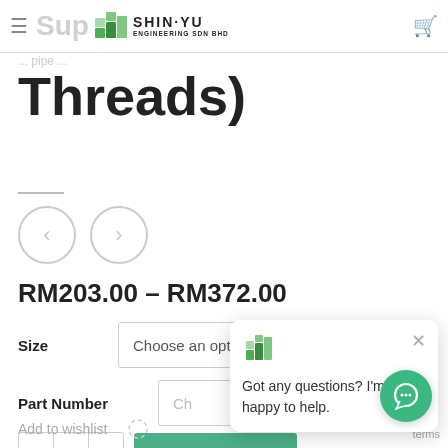Shin-Yu Engineering Sdn Bhd
Threads)
RM203.00 – RM372.00
Size: Choose an option
Part Number: Choose an option
Add to Cart — quantity 1
Got any questions? I'm happy to help.
Add to wishlist